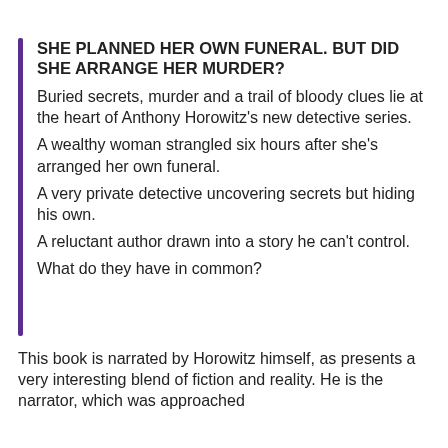SHE PLANNED HER OWN FUNERAL. BUT DID SHE ARRANGE HER MURDER?
Buried secrets, murder and a trail of bloody clues lie at the heart of Anthony Horowitz's new detective series.
A wealthy woman strangled six hours after she's arranged her own funeral.
A very private detective uncovering secrets but hiding his own.
A reluctant author drawn into a story he can't control.
What do they have in common?
This book is narrated by Horowitz himself, as presents a very interesting blend of fiction and reality. He is the narrator, which was approached